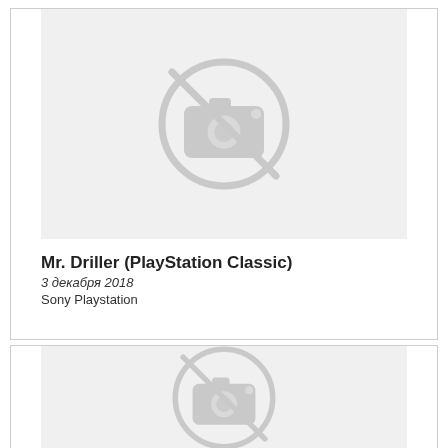[Figure (illustration): No-image placeholder icon (camera with diagonal line through it) on a light gray background]
Mr. Driller (PlayStation Classic)
3 декабря 2018
Sony Playstation
[Figure (illustration): No-image placeholder icon (camera with diagonal line through it) on a light gray background, partially visible]